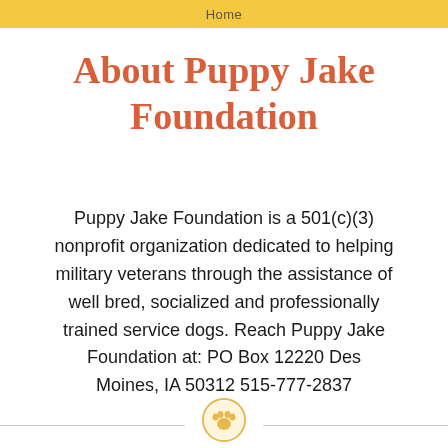Home
About Puppy Jake Foundation
Puppy Jake Foundation is a 501(c)(3) nonprofit organization dedicated to helping military veterans through the assistance of well bred, socialized and professionally trained service dogs. Reach Puppy Jake Foundation at: PO Box 12220 Des Moines, IA 50312 515-777-2837
[Figure (logo): Paw print circular logo icon in gold/amber color at the bottom center of the page]